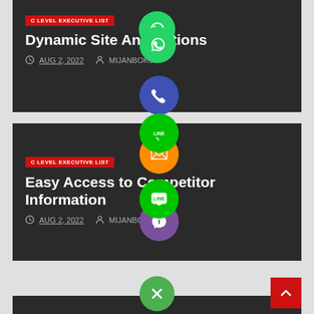[Figure (infographic): Social media sharing icon strip overlaid vertically across the page: WhatsApp (green), Phone (blue/indigo), Email (orange), LINE (green), Viber (purple), Close/X (green)]
C LEVEL EXECUTIVE LIST
Dynamic Site Annotations
AUG 2, 2022  MIJANBOKUL
C LEVEL EXECUTIVE LIST
Easy Access to Competitor Information
AUG 2, 2022  MIJANBOKUL